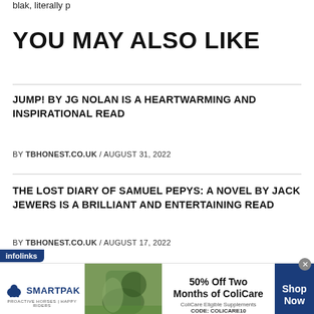blak, literally p
YOU MAY ALSO LIKE
JUMP! BY JG NOLAN IS A HEARTWARMING AND INSPIRATIONAL READ
BY TBHONEST.CO.UK / AUGUST 31, 2022
THE LOST DIARY OF SAMUEL PEPYS: A NOVEL BY JACK JEWERS IS A BRILLIANT AND ENTERTAINING READ
BY TBHONEST.CO.UK / AUGUST 17, 2022
[Figure (infographic): SmartPak advertisement banner: 50% Off Two Months of ColiCare, ColiCare Eligible Supplements, CODE: COLICARE10, Shop Now button. Infolinks tab visible.]